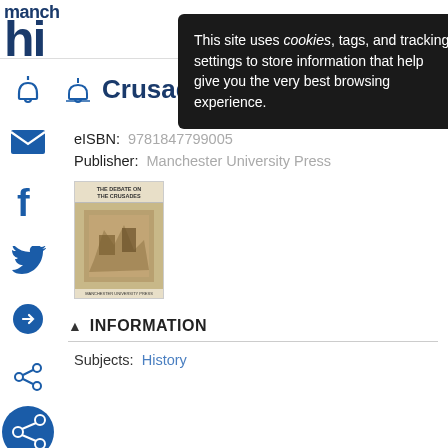manch
This site uses cookies, tags, and tracking settings to store information that help give you the very best browsing experience.
Crusades
eISBN: 9781847799005
Publisher: Manchester University Press
[Figure (photo): Book cover of 'The Debate on The Crusades']
INFORMATION
Subjects: History